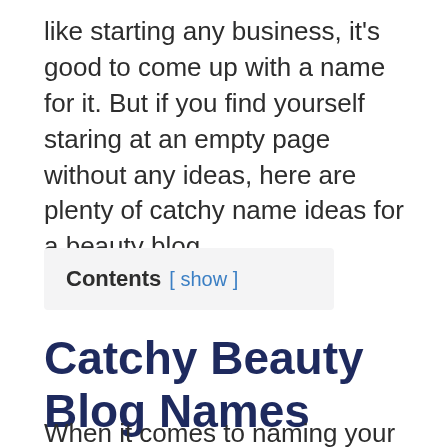like starting any business, it's good to come up with a name for it. But if you find yourself staring at an empty page without any ideas, here are plenty of catchy name ideas for a beauty blog.
Contents [ show ]
Catchy Beauty Blog Names
When it comes to naming your beauty blog,